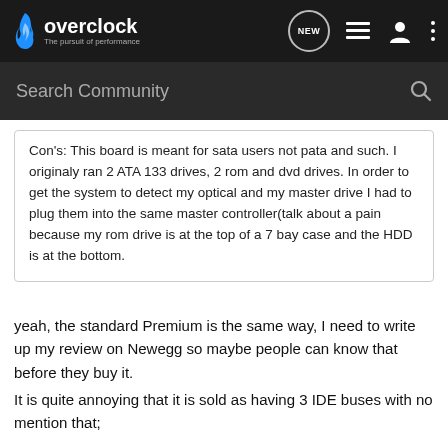overclock – The pursuit of performance
Search Community
Con's: This board is meant for sata users not pata and such. I originaly ran 2 ATA 133 drives, 2 rom and dvd drives. In order to get the system to detect my optical and my master drive I had to plug them into the same master controller(talk about a pain because my rom drive is at the top of a 7 bay case and the HDD is at the bottom.
yeah, the standard Premium is the same way, I need to write up my review on Newegg so maybe people can know that before they buy it.
It is quite annoying that it is sold as having 3 IDE buses with no mention that;